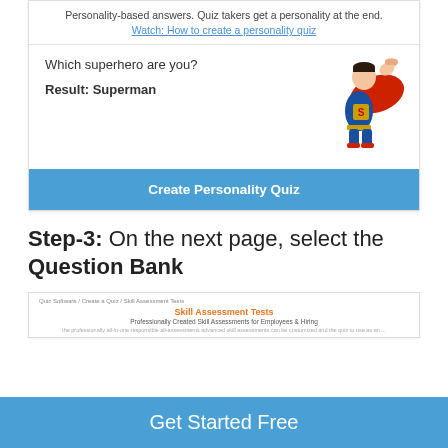Personality-based answers. Quiz takers get a personality at the end.
Watch: How to create a personality quiz
Which superhero are you?
Result: Superman
[Figure (illustration): Superman cartoon character flying]
Create Personality Quiz
Step-3: On the next page, select the Question Bank
[Figure (screenshot): Screenshot of Skill Assessment Tests page with orange title and breadcrumb navigation]
Get Started Free